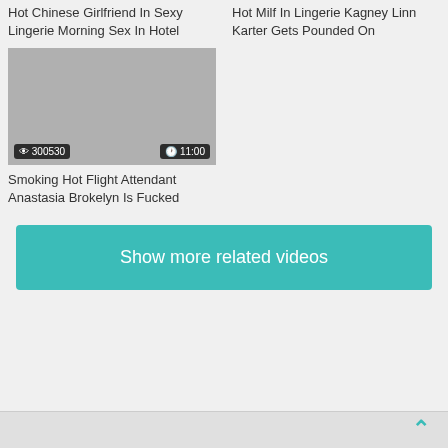Hot Chinese Girlfriend In Sexy Lingerie Morning Sex In Hotel
Hot Milf In Lingerie Kagney Linn Karter Gets Pounded On
[Figure (photo): Video thumbnail with view count 300530 and duration 11:00]
Smoking Hot Flight Attendant Anastasia Brokelyn Is Fucked
Show more related videos